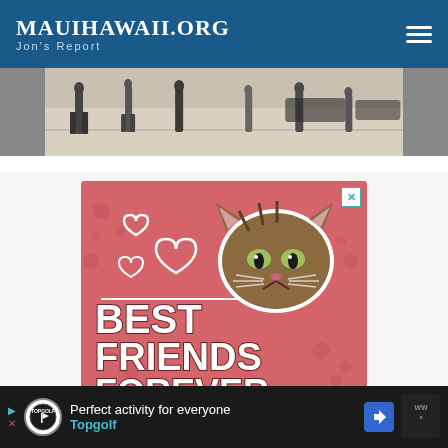MauiHawaii.org — Jon's Report
[Figure (photo): Street scene photo showing people walking, cropped to show legs and feet on a sunny pavement, positioned below the nav header]
[Figure (illustration): Advertisement with pink/red background featuring a cat face with white outline and three white heart outlines, with bold white text reading BEST FRIENDS FOREVER. Close button (X) in top right corner.]
[Figure (other): Bottom ad banner on dark background: Topgolf logo circle on left, text 'Perfect activity for everyone' and 'Topgolf' in cyan, blue navigation arrow icon, and weather widget with dark background on right.]